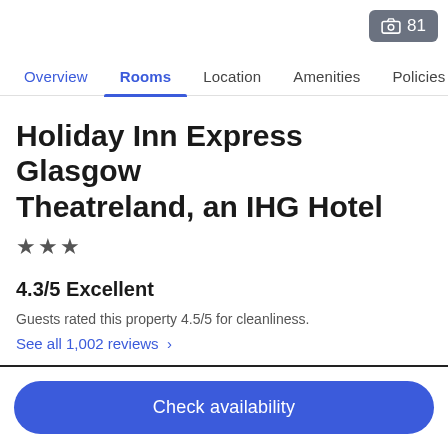[Figure (screenshot): Photo count badge showing camera icon and '81']
Overview  Rooms  Location  Amenities  Policies  R
Holiday Inn Express Glasgow Theatreland, an IHG Hotel
★★★
4.3/5 Excellent
Guests rated this property 4.5/5 for cleanliness.
See all 1,002 reviews  ›
Popular amenities
Free WiFi
Business services
Check availability